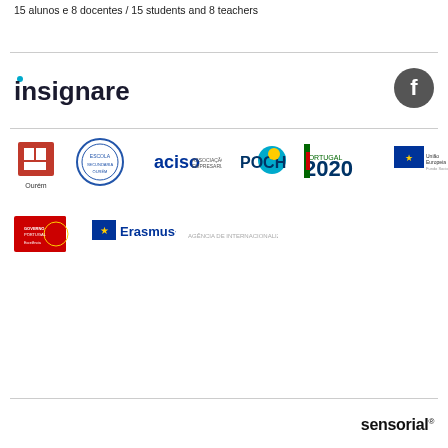15 alunos e 8 docentes / 15 students and 8 teachers
[Figure (logo): insignare brand logo with blue dot on i, and Facebook icon circle on right]
[Figure (logo): Row of sponsor logos: Ourém municipality, school crest, ACISO, POCH, Portugal 2020, EU flag logo]
[Figure (logo): Row of logos: red/white government logo, Erasmus+ EU logo, faint additional text logo]
sensorial®